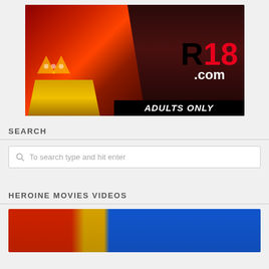[Figure (photo): R18.com adult content advertisement banner featuring cosplay figures in superhero costumes with 'R18.com ADULTS ONLY' branding overlay]
SEARCH
To search type and hit enter
HEROINE MOVIES VIDEOS
[Figure (photo): Thumbnail image of a person in a blue and red superhero costume lying down]